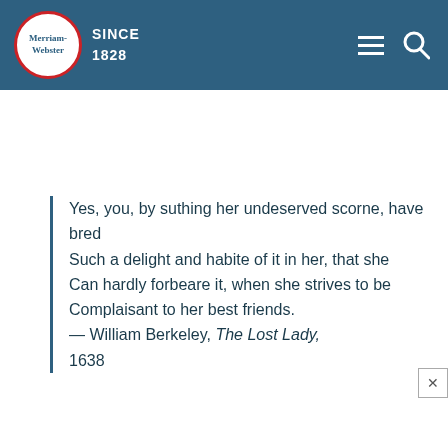Merriam-Webster SINCE 1828
Yes, you, by suthing her undeserved scorne, have bred Such a delight and habite of it in her, that she Can hardly forbeare it, when she strives to be Complaisant to her best friends. — William Berkeley, The Lost Lady, 1638